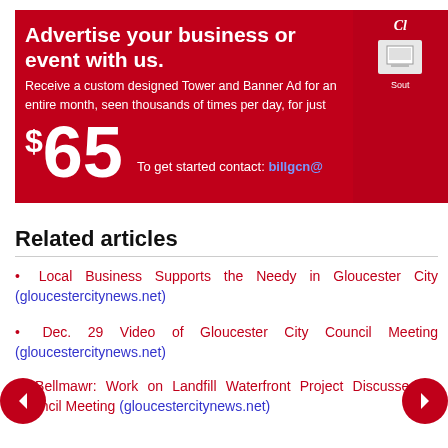[Figure (other): Red advertisement banner reading: Advertise your business or event with us. Receive a custom designed Tower and Banner Ad for an entire month, seen thousands of times per day, for just $65. To get started contact: billgcn@]
Related articles
Local Business Supports the Needy in Gloucester City (gloucestercitynews.net)
Dec. 29 Video of Gloucester City Council Meeting (gloucestercitynews.net)
Bellmawr: Work on Landfill Waterfront Project Discussed at Council Meeting (gloucestercitynews.net)